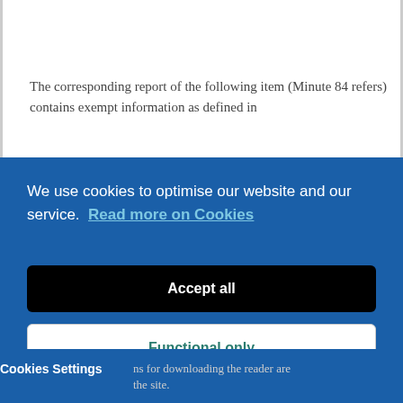The corresponding report of the following item (Minute 84 refers) contains exempt information as defined in
We use cookies to optimise our website and our service.  Read more on Cookies
Accept all
Functional only
Cookies preferences
Cookies Settings
ns for downloading the reader are
the site.